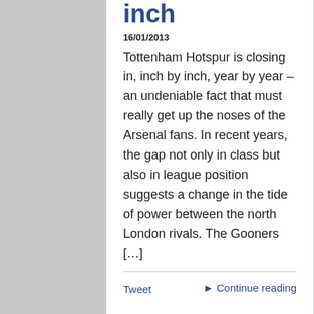inch
16/01/2013
Tottenham Hotspur is closing in, inch by inch, year by year – an undeniable fact that must really get up the noses of the Arsenal fans. In recent years, the gap not only in class but also in league position suggests a change in the tide of power between the north London rivals. The Gooners […]
Tweet
► Continue reading